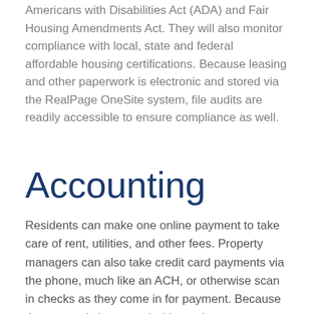Americans with Disabilities Act (ADA) and Fair Housing Amendments Act. They will also monitor compliance with local, state and federal affordable housing certifications. Because leasing and other paperwork is electronic and stored via the RealPage OneSite system, file audits are readily accessible to ensure compliance as well.
Accounting
Residents can make one online payment to take care of rent, utilities, and other fees. Property managers can also take credit card payments via the phone, much like an ACH, or otherwise scan in checks as they come in for payment. Because the system is integrated with vendor